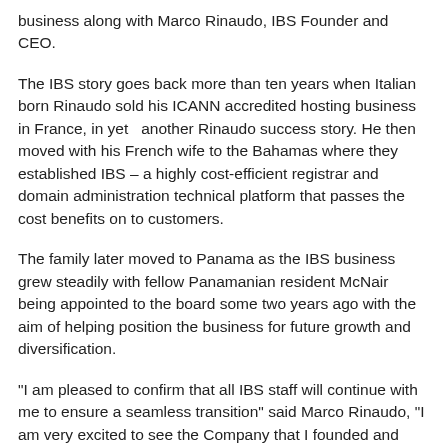business along with Marco Rinaudo, IBS Founder and CEO.
The IBS story goes back more than ten years when Italian born Rinaudo sold his ICANN accredited hosting business in France, in yet   another Rinaudo success story. He then moved with his French wife to the Bahamas where they established IBS – a highly cost-efficient registrar and domain administration technical platform that passes the cost benefits on to customers.
The family later moved to Panama as the IBS business grew steadily with fellow Panamanian resident McNair being appointed to the board some two years ago with the aim of helping position the business for future growth and diversification.
"I am pleased to confirm that all IBS staff will continue with me to ensure a seamless transition" said Marco Rinaudo, "I am very excited to see the Company that I founded and nurtured for more than 10 years enter this new phase of development. The